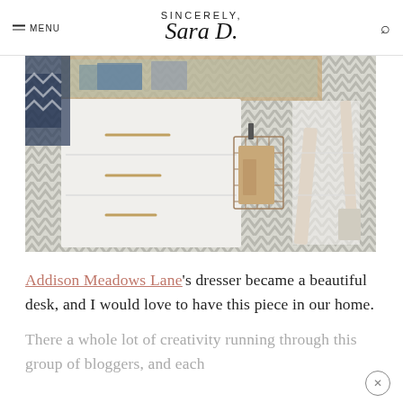SINCERELY, Sara D.
[Figure (photo): A white dresser repurposed as a desk with gold bar handles and a wire magazine holder on the side, set on a grey chevron-patterned floor. A glass top reveals books underneath. A second piece of furniture is visible to the right.]
Addison Meadows Lane's dresser became a beautiful desk, and I would love to have this piece in our home.
There a whole lot of creativity running through this group of bloggers, and each